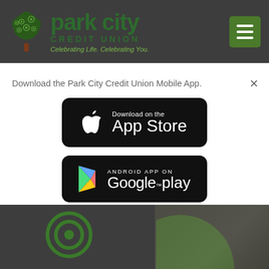[Figure (logo): Park City Credit Union logo with tree icon and text 'park city CREDIT UNION' on dark grey header bar]
Download the Park City Credit Union Mobile App.
[Figure (screenshot): Black rounded rectangle button with Apple logo and text 'Download on the App Store']
[Figure (screenshot): Black rounded rectangle button with Google Play triangle logo and text 'ANDROID APP ON Google play']
[Figure (photo): Dark grey footer section with circular target icon, green arc shape, and partial view of two people celebrating]